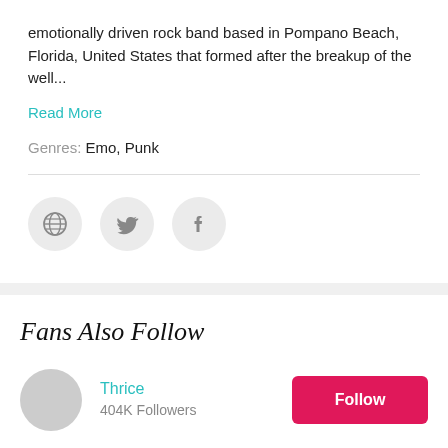emotionally driven rock band based in Pompano Beach, Florida, United States that formed after the breakup of the well...
Read More
Genres: Emo, Punk
[Figure (infographic): Three circular social media icon buttons: globe/web icon, Twitter bird icon, and Facebook 'f' icon, each on a light gray circular background.]
Fans Also Follow
Thrice — 404K Followers — Follow
Dashboard... — 542K Followers — Follow